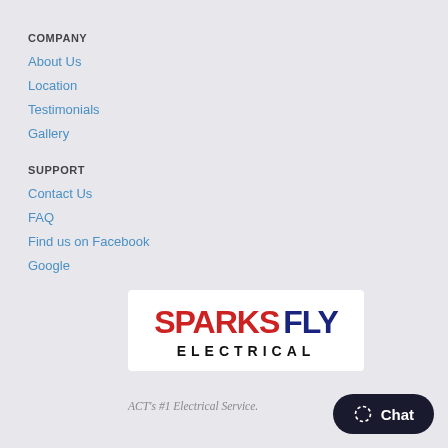COMPANY
About Us
Location
Testimonials
Gallery
SUPPORT
Contact Us
FAQ
Find us on Facebook
Google
[Figure (logo): Sparks Fly Electrical logo with red SPARKS, dark blue FLY, and black ELECTRICAL text on white background]
ACT's #1 Electrical Service.